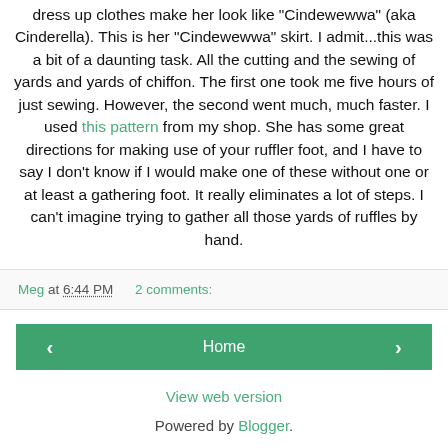dress up clothes make her look like "Cindewewwa" (aka Cinderella). This is her "Cindewewwa" skirt. I admit...this was a bit of a daunting task. All the cutting and the sewing of yards and yards of chiffon. The first one took me five hours of just sewing. However, the second went much, much faster. I used this pattern from my shop. She has some great directions for making use of your ruffler foot, and I have to say I don't know if I would make one of these without one or at least a gathering foot. It really eliminates a lot of steps. I can't imagine trying to gather all those yards of ruffles by hand.
Meg at 6:44 PM    2 comments:
Home
View web version
Powered by Blogger.